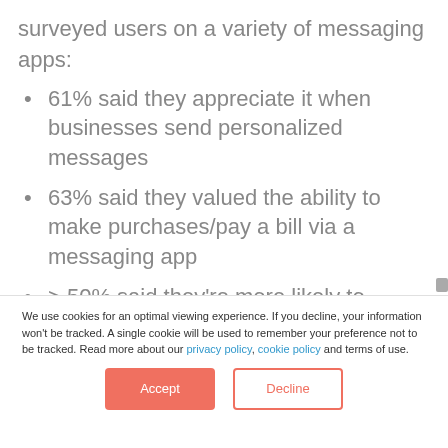surveyed users on a variety of messaging apps:
61% said they appreciate it when businesses send personalized messages
63% said they valued the ability to make purchases/pay a bill via a messaging app
> 50% said they're more likely to interact with a business if they can message it
We use cookies for an optimal viewing experience. If you decline, your information won't be tracked. A single cookie will be used to remember your preference not to be tracked. Read more about our privacy policy, cookie policy and terms of use.